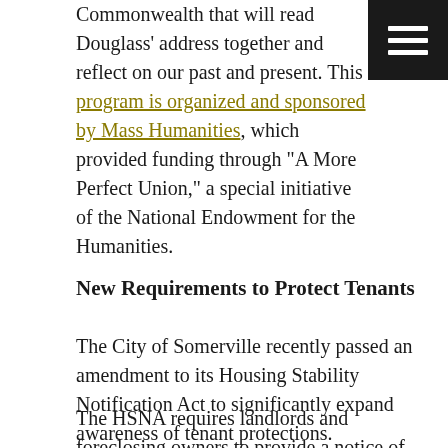Commonwealth that will read Douglass' address together and reflect on our past and present. This program is organized and sponsored by Mass Humanities, which provided funding through "A More Perfect Union," a special initiative of the National Endowment for the Humanities.
New Requirements to Protect Tenants
The City of Somerville recently passed an amendment to its Housing Stability Notification Act to significantly expand awareness of tenant protections.
The HSNA requires landlords and foreclosing owners to provide a notice of basic housing rights and resources at